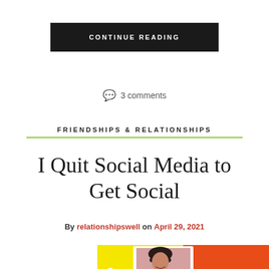CONTINUE READING
3 comments
FRIENDSHIPS & RELATIONSHIPS
I Quit Social Media to Get Social
By relationshipswell on April 29, 2021
[Figure (photo): Colorful photo with yellow and orange-red background, featuring a woman wearing sunglasses in a polaroid-style frame]